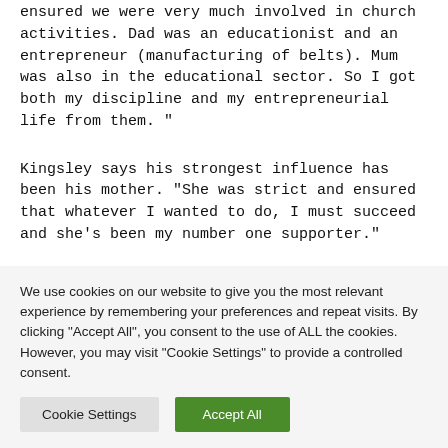ensured we were very much involved in church activities. Dad was an educationist and an entrepreneur (manufacturing of belts). Mum was also in the educational sector. So I got both my discipline and my entrepreneurial life from them. “
Kingsley says his strongest influence has been his mother. “She was strict and ensured that whatever I wanted to do, I must succeed and she’s been my number one supporter.”
We use cookies on our website to give you the most relevant experience by remembering your preferences and repeat visits. By clicking “Accept All”, you consent to the use of ALL the cookies. However, you may visit "Cookie Settings" to provide a controlled consent.